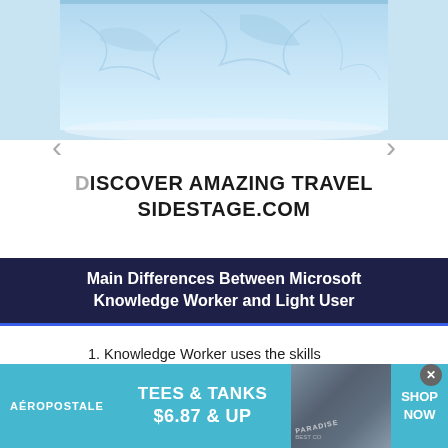[Figure (photo): Glacier/ice wall photo used as advertisement background for SIDESTAGE.COM travel website]
DISCOVER AMAZING TRAVEL SIDESTAGE.COM
Main Differences Between Microsoft Knowledge Worker and Light User
1. Knowledge Worker uses the skills they learned in their educational qualification whereas Light User has no big achievement in education
[Figure (other): Pink play button circle icon overlaid on content]
[Figure (other): Aeropostale advertisement banner: TEES & TANKS $6.87 & UP SHOP NOW]